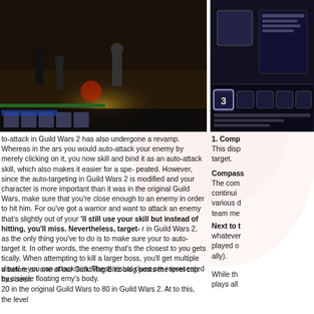[Figure (screenshot): Guild Wars 2 gameplay screenshot showing dark nighttime combat scene with multiple characters fighting, UI elements visible at bottom]
[Figure (screenshot): Guild Wars 2 UI screenshot showing skill bar with number 3 highlighted, dark interface panel with game text]
to-attack in Guild Wars 2 has also undergone a revamp. Whereas in the ars you would auto-attack your enemy by merely clicking on it, you now skill and bind it as an auto-attack skill, which also makes it easier for a spe- peated. However, since the auto-targeting in Guild Wars 2 is modified and your character is more important than it was in the original Guild Wars, make sure that you’re close enough to an enemy in order to hit him. For ou’ve got a warrior and want to attack an enemy that’s slightly out of your ’ll still use your skill but instead of hitting, you’ll miss. Nevertheless, target- r in Guild Wars 2, as the only thing you’ve to do is to make sure your to auto-target it. In other words, the enemy that’s the closest to you gets tically. When attempting to kill a larger boss, you’ll get multiple visual e you can attack him. These visual clues are represented by a circle floating emy’s body.
d before on one of our GuildMag Blitz blog posts the level cap has been 20 in the original Guild Wars to 80 in Guild Wars 2. At to this, the level
1. Comp
This disp
target.
Compass
The com
continui
various d
team me
Next to t
whateve
played o
ally).
While th
plays all